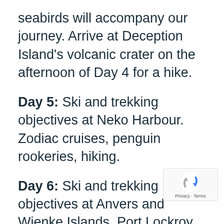seabirds will accompany our journey. Arrive at Deception Island's volcanic crater on the afternoon of Day 4 for a hike.
Day 5: Ski and trekking objectives at Neko Harbour. Zodiac cruises, penguin rookeries, hiking.
Day 6: Ski and trekking objectives at Anvers and Wienke Islands. Port Lockroy scientific base and museum. Visit gentoo and adelie penguin habitat.
Day 7: Ronge Island/Mt. Britannia. Visit Penguin rookery at Georges Point.